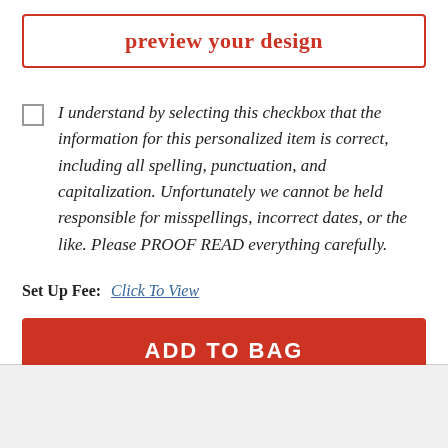preview your design
I understand by selecting this checkbox that the information for this personalized item is correct, including all spelling, punctuation, and capitalization. Unfortunately we cannot be held responsible for misspellings, incorrect dates, or the like. Please PROOF READ everything carefully.
Set Up Fee:  Click To View
ADD TO BAG
SIMILAR ITEMS